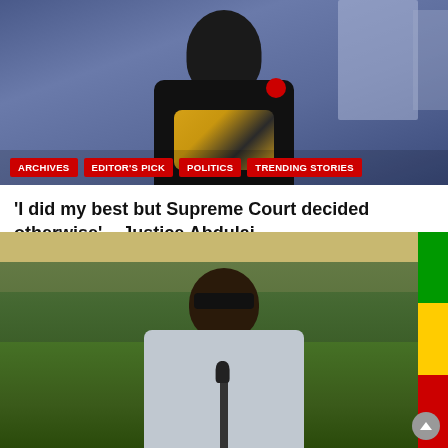[Figure (photo): Man wearing black Puma jacket with Ghana flag colors and medals/badge, seated in front of blue building background. Red category tags overlay the bottom of the image.]
'I did my best but Supreme Court decided otherwise' – Justice Abdulai
April 26, 2022 / ...
[Figure (photo): Older man with shaved head and dark sunglasses speaking at microphones outdoors, with soldiers/military personnel in background and Ghana flag colors visible. Man appears to be giving a public address.]